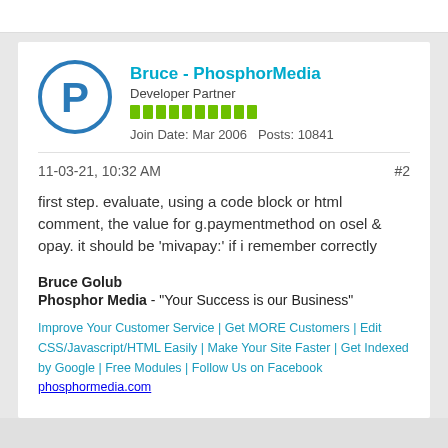[Figure (other): Forum user avatar: circle with letter P in blue, representing PhosphorMedia logo]
Bruce - PhosphorMedia
Developer Partner
Join Date: Mar 2006    Posts: 10841
11-03-21, 10:32 AM
#2
first step. evaluate, using a code block or html comment, the value for g.paymentmethod on osel & opay. it should be 'mivapay:' if i remember correctly
Bruce Golub
Phosphor Media - "Your Success is our Business"
Improve Your Customer Service | Get MORE Customers | Edit CSS/Javascript/HTML Easily | Make Your Site Faster | Get Indexed by Google | Free Modules | Follow Us on Facebook
phosphormedia.com